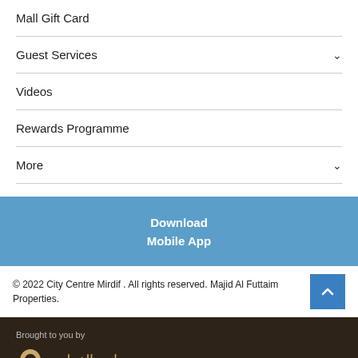Mall Gift Card
Guest Services
Videos
Rewards Programme
More
Download
Mobile App
© 2022 City Centre Mirdif . All rights reserved. Majid Al Futtaim Properties.
Brought to you by
ماجد الفطيم